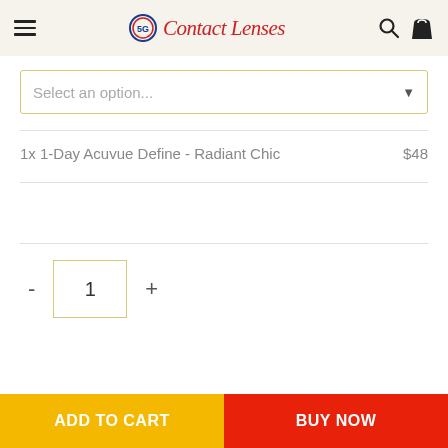Contact Lenses
Select an option...
1x 1-Day Acuvue Define - Radiant Chic   $48
1
ADD TO CART
BUY NOW